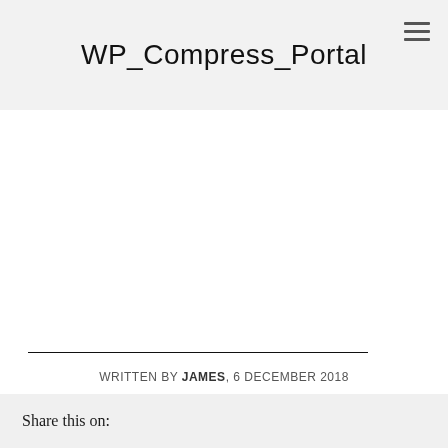WP_Compress_Portal
WRITTEN BY JAMES, 6 DECEMBER 2018
Share this on: